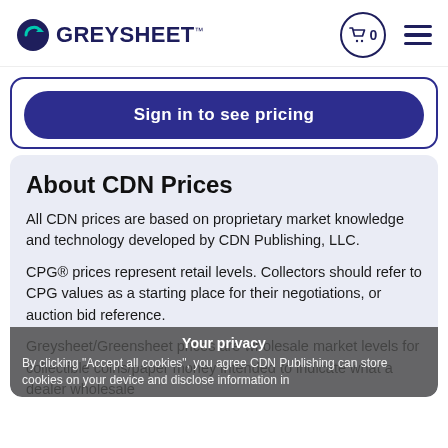GREYSHEET
Sign in to see pricing
About CDN Prices
All CDN prices are based on proprietary market knowledge and technology developed by CDN Publishing, LLC.
CPG® prices represent retail levels. Collectors should refer to CPG values as a starting place for their negotiations, or auction bid reference.
Greysheet/Greensheet prices are wholesale market levels for collectible coins/paper money intended to indicate what a dealer wholesale
Your privacy
By clicking "Accept all cookies", you agree CDN Publishing can store cookies on your device and disclose information in accordance with...